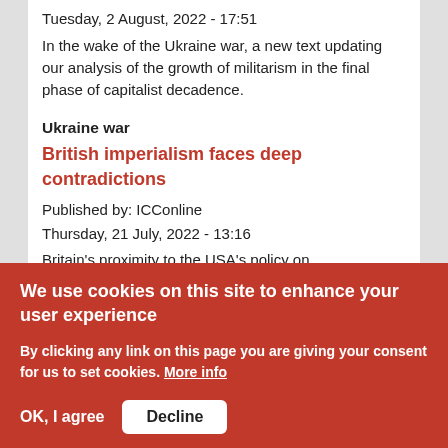Tuesday, 2 August, 2022 - 17:51
In the wake of the Ukraine war, a new text updating our analysis of the growth of militarism in the final phase of capitalist decadence.
Ukraine war
British imperialism faces deep contradictions
Published by: ICConline
Thursday, 21 July, 2022 - 13:16
Britain's proximity to the USA's policy on
We use cookies on this site to enhance your user experience
By clicking any link on this page you are giving your consent for us to set cookies. More info
OK, I agree
Decline